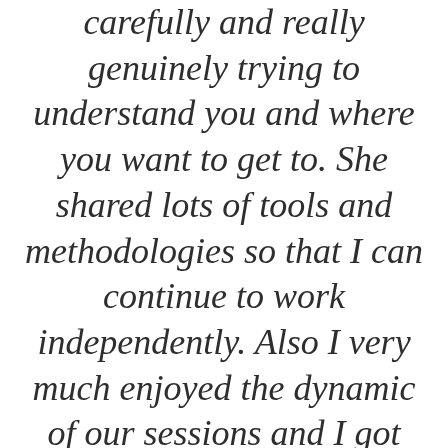carefully and really genuinely trying to understand you and where you want to get to. She shared lots of tools and methodologies so that I can continue to work independently. Also I very much enjoyed the dynamic of our sessions and I got